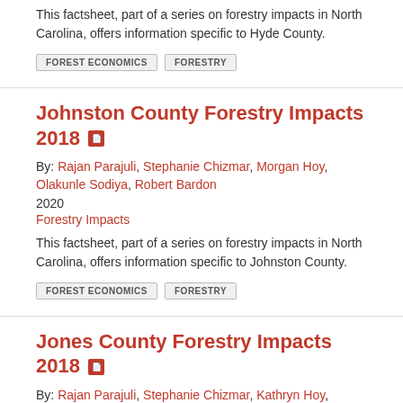This factsheet, part of a series on forestry impacts in North Carolina, offers information specific to Hyde County.
FOREST ECONOMICS
FORESTRY
Johnston County Forestry Impacts 2018
By: Rajan Parajuli, Stephanie Chizmar, Morgan Hoy, Olakunle Sodiya, Robert Bardon
2020
Forestry Impacts
This factsheet, part of a series on forestry impacts in North Carolina, offers information specific to Johnston County.
FOREST ECONOMICS
FORESTRY
Jones County Forestry Impacts 2018
By: Rajan Parajuli, Stephanie Chizmar, Kathryn Hoy, Olakunle